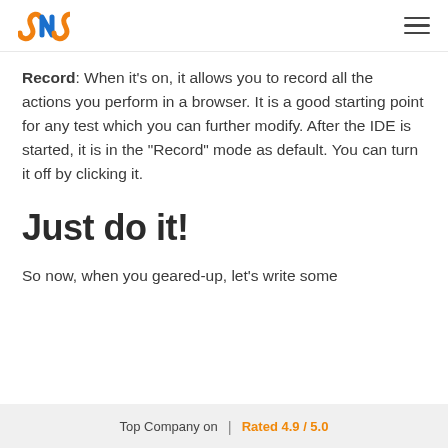SNS logo and navigation hamburger menu
Record: When it's on, it allows you to record all the actions you perform in a browser. It is a good starting point for any test which you can further modify. After the IDE is started, it is in the "Record" mode as default. You can turn it off by clicking it.
Just do it!
So now, when you geared-up, let's write some
Top Company on  |  Rated 4.9 / 5.0